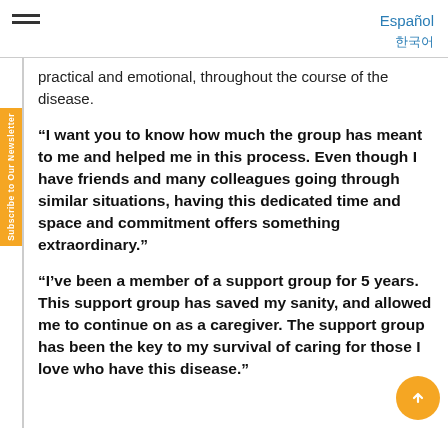Español | 한국어
practical and emotional, throughout the course of the disease.
“I want you to know how much the group has meant to me and helped me in this process. Even though I have friends and many colleagues going through similar situations, having this dedicated time and space and commitment offers something extraordinary.”
“I’ve been a member of a support group for 5 years. This support group has saved my sanity, and allowed me to continue on as a caregiver. The support group has been the key to my survival of caring for those I love who have this disease.”